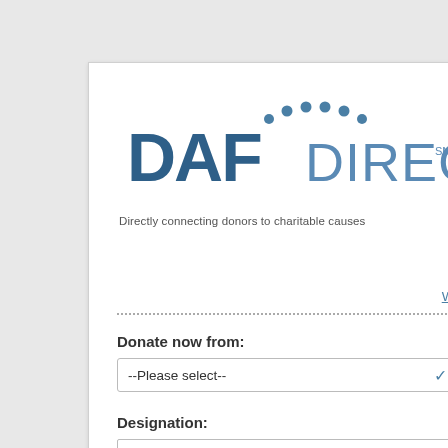[Figure (logo): DAF Direct logo with dots arc above text. 'DAF' in bold dark blue, 'DIRECT' in lighter blue with SM mark.]
Directly connecting donors to charitable causes
What is this?
Donate now from:
--Please select--
Designation:
Amount:
NEXT